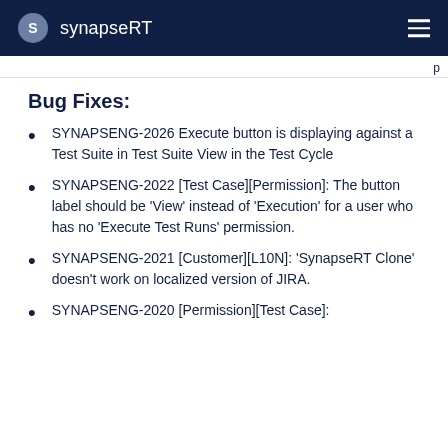synapseRT
Bug Fixes:
SYNAPSENG-2026 Execute button is displaying against a Test Suite in Test Suite View in the Test Cycle
SYNAPSENG-2022 [Test Case][Permission]: The button label should be 'View' instead of 'Execution' for a user who has no 'Execute Test Runs' permission.
SYNAPSENG-2021 [Customer][L10N]: 'SynapseRT Clone' doesn't work on localized version of JIRA.
SYNAPSENG-2020 [Permission][Test Case]: